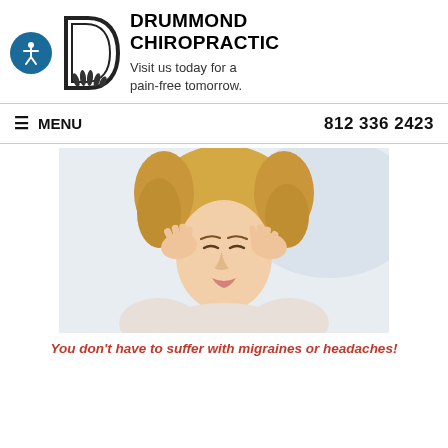[Figure (logo): Drummond Chiropractic header logo with accessibility icon (blue circle with person figure), stylized D with hands logo, business name and tagline]
DRUMMOND CHIROPRACTIC
Visit us today for a pain-free tomorrow.
≡ MENU   812 336 2423
[Figure (photo): Woman with blonde hair holding her temples with both hands, eyes closed, appearing to have a headache or migraine. White background.]
You don't have to suffer with migraines or headaches!